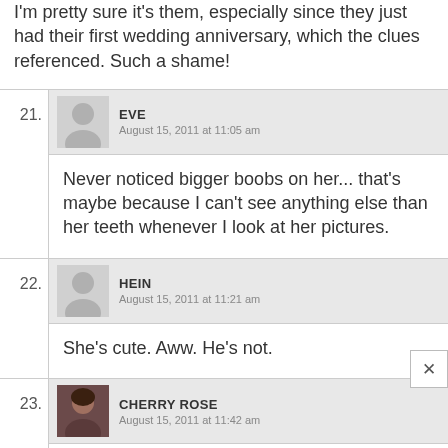I'm pretty sure it's them, especially since they just had their first wedding anniversary, which the clues referenced. Such a shame!
21. EVE — August 15, 2011 at 11:05 am
Never noticed bigger boobs on her... that's maybe because I can't see anything else than her teeth whenever I look at her pictures.
22. HEIN — August 15, 2011 at 11:21 am
She's cute. Aww. He's not.
23. CHERRY ROSE — August 15, 2011 at 11:42 am
I like Hilary, mainly because when her contract with Disney expired, she didn't go the Miley Cyrus route, and try to